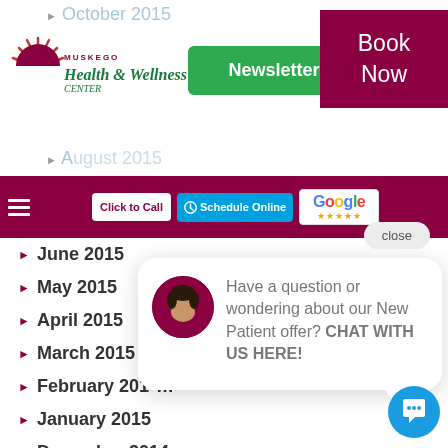[Figure (screenshot): Muskego Health & Wellness Center website header with logo, Newsletter Signup button (green), Book Now button (dark red), navigation bar with hamburger menu, Click to Call, Schedule Online, and Google reviews buttons. Archive list of months from June 2015 to November 2014 visible on left. Chat popup on right with avatar and message 'Have a question or wondering about our New Patient offer? CHAT WITH US HERE!']
June 2015
May 2015
April 2015
March 2015
February 201…
January 2015
December 2014
November 2014
Have a question or wondering about our New Patient offer? CHAT WITH US HERE!